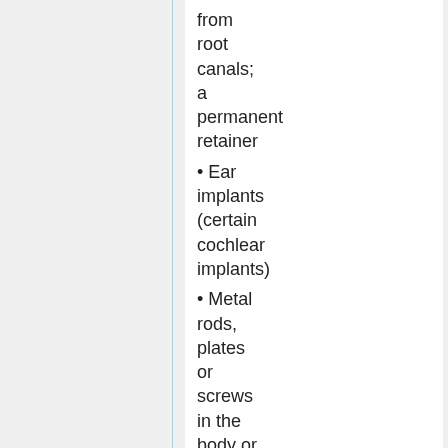from root canals; a permanent retainer
Ear implants (certain cochlear implants)
Metal rods, plates or screws in the body or mouth
•